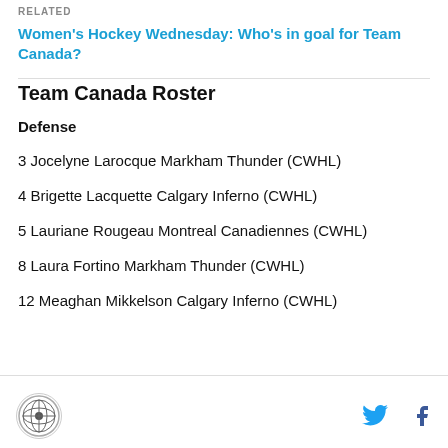RELATED
Women's Hockey Wednesday: Who's in goal for Team Canada?
Team Canada Roster
Defense
3 Jocelyne Larocque Markham Thunder (CWHL)
4 Brigette Lacquette Calgary Inferno (CWHL)
5 Lauriane Rougeau Montreal Canadiennes (CWHL)
8 Laura Fortino Markham Thunder (CWHL)
12 Meaghan Mikkelson Calgary Inferno (CWHL)